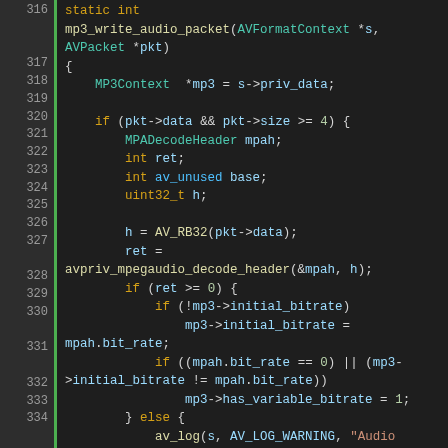[Figure (screenshot): C source code viewer showing lines 316-340 of an MP3 audio muxer implementation. Code uses syntax highlighting with a dark background. Shows static int mp3_write_audio_packet function with MP3 header validation, bitrate checks, and variable bitrate detection logic. Lines are numbered in a left gutter with a green vertical bar separator.]